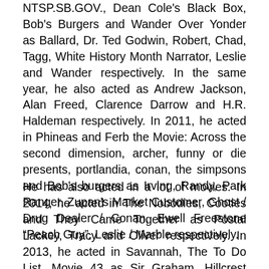NTSP.SB.GOV., Dean Cole's Black Box, Bob's Burgers and Wander Over Yonder as Ballard, Dr. Ted Godwin, Robert, Chad, Tagg, White History Month Narrator, Leslie and Wander respectively. In the same year, he also acted as Andrew Jackson, Alan Freed, Clarence Darrow and H.R. Haldeman respectively. In 2011, he acted in Phineas and Ferb the Movie: Across the second dimension, archer, funny or die presents, portlandia, conan, the simpsons and Bob's burgers as Irving, Randy, Park Ranger, Zupan's Market Customer, Ghost / Drug Dealer / Conan, Ewell Freestone “Peach Guy”, Leslie / Marble respectively.
He has also acted in a lot of movies. In 2014, he acted in The Nobodies, Cooties and They Came Together as Postal Lackey, Tracy and Oliver respectively. In 2013, he acted in Savannah, The To Do List, Movie 43 as Sir Graham, Hillcrest Manager...